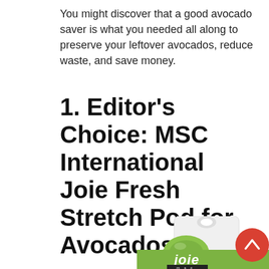You might discover that a good avocado saver is what you needed all along to preserve your leftover avocados, reduce waste, and save money.
1. Editor's Choice: MSC International Joie Fresh Stretch Pod for Avocados
[Figure (photo): Product photo of MSC International Joie Fresh Stretch Pod for Avocados — a green silicone avocado-shaped pod in retail packaging with the Joie MSC logo on a green label. A red circular back-to-top button with a white chevron is visible in the bottom-right corner.]